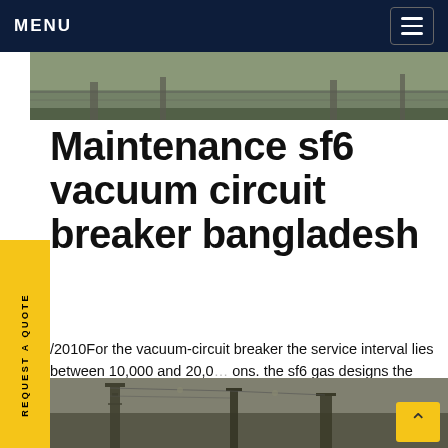MENU
[Figure (photo): Aerial or outdoor photo of electrical substation infrastructure, top strip]
Maintenance sf6 vacuum circuit breaker Bangladesh
/2010For the vacuum-circuit breaker the service interval lies between 10,000 and 20,000 operations. the sf6 gas designs the value varies between 00 and 20,000 whereby, the lower value applies to puffer circuit-breaker for whose Get price
[Figure (screenshot): Chat widget popup showing: 'we can send you catalogue and price list for you choosing. Leave us your email or whatsapp.' with SF6 Expert agent, just now, write input with like and attachment icons, and green chat bubble with red badge showing 1]
[Figure (photo): Photo of electrical substation towers and infrastructure, bottom strip]
REQUEST A QUOTE